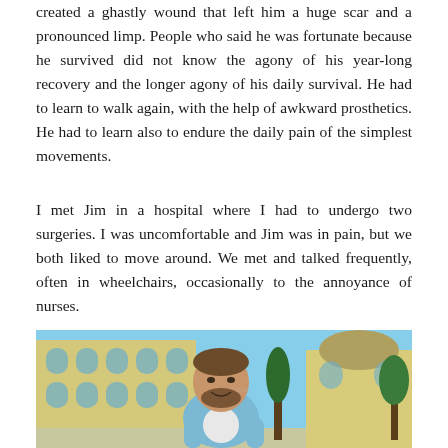created a ghastly wound that left him a huge scar and a pronounced limp. People who said he was fortunate because he survived did not know the agony of his year-long recovery and the longer agony of his daily survival. He had to learn to walk again, with the help of awkward prosthetics. He had to learn also to endure the daily pain of the simplest movements.
I met Jim in a hospital where I had to undergo two surgeries. I was uncomfortable and Jim was in pain, but we both liked to move around. We met and talked frequently, often in wheelchairs, occasionally to the annoyance of nurses.
[Figure (photo): A smiling bearded man in a light blue shirt standing outdoors in front of a large ornate yellow building with blue-accented windows, with trees and another domed building visible in the background. The man is looking slightly to his left and smiling.]